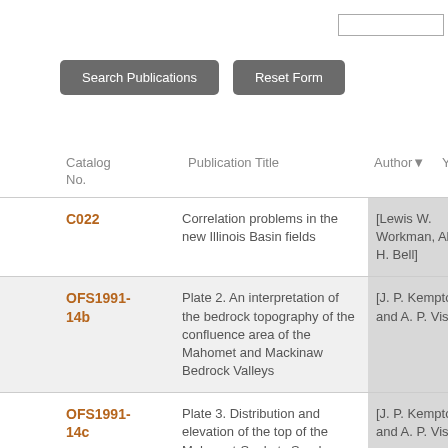| Catalog No. | Publication Title | Author | Y |
| --- | --- | --- | --- |
| C022 | Correlation problems in the new Illinois Basin fields | [Lewis W. Workman, Alfred H. Bell] | 1 |
| OFS1991-14b | Plate 2. An interpretation of the bedrock topography of the confluence area of the Mahomet and Mackinaw Bedrock Valleys | [J. P. Kempton and A. P. Visocky] | 1 |
| OFS1991-14c | Plate 3. Distribution and elevation of the top of the Mahomet-Sankoty Sand | [J. P. Kempton and A. P. Visocky] | 1 |